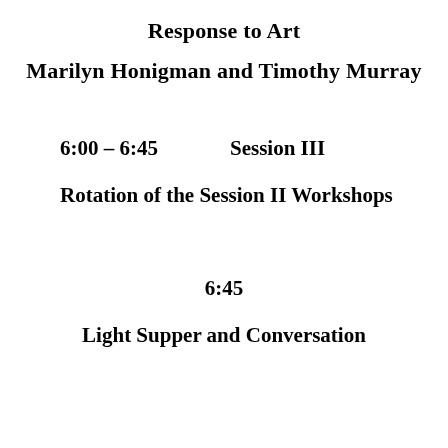Response to Art
Marilyn Honigman and Timothy Murray
6:00 – 6:45        Session III
Rotation of the Session II Workshops
6:45
Light Supper and Conversation